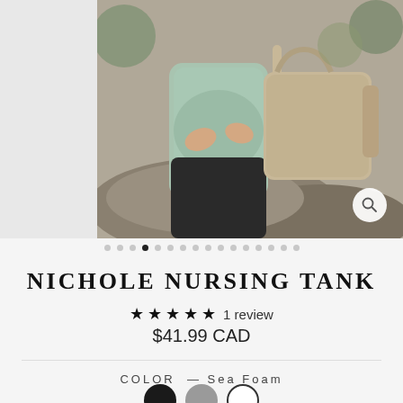[Figure (photo): A pregnant woman wearing a seafoam green nursing tank top and black pants, sitting on a rock outdoors, holding a tan leather bag. Image is part of a product carousel.]
NICHOLE NURSING TANK
★★★★★ 1 review
$41.99 CAD
COLOR — Sea Foam